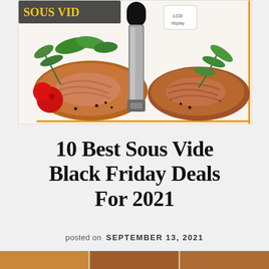[Figure (photo): Product image of sous vide cooker stick with grilled steaks, cherry tomatoes, rosemary, and greens on white background with orange border accent]
10 Best Sous Vide Black Friday Deals For 2021
posted on  SEPTEMBER 13, 2021
[Figure (photo): Partial bottom strip showing more food/product images, cropped at page bottom]